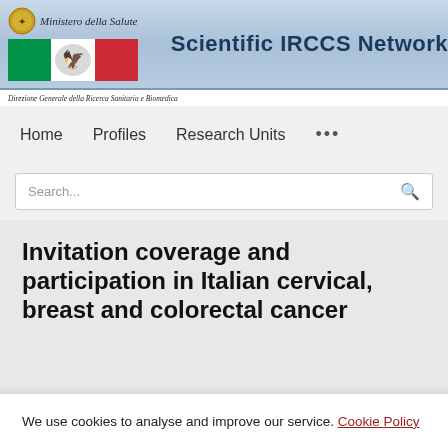Ministero della Salute — Scientific IRCCS Network — Direzione Generale della Ricerca Sanitaria e Biomedica
Home   Profiles   Research Units   •••
Search...
Invitation coverage and participation in Italian cervical, breast and colorectal cancer
We use cookies to analyse and improve our service. Cookie Policy